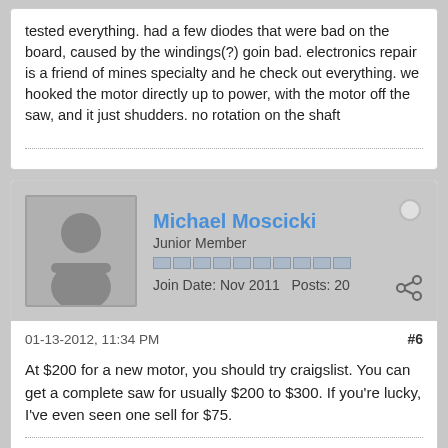tested everything. had a few diodes that were bad on the board, caused by the windings(?) goin bad. electronics repair is a friend of mines specialty and he check out everything. we hooked the motor directly up to power, with the motor off the saw, and it just shudders. no rotation on the shaft
Michael Moscicki
Junior Member
Join Date: Nov 2011  Posts: 20
01-13-2012, 11:34 PM
#6
At $200 for a new motor, you should try craigslist. You can get a complete saw for usually $200 to $300. If you're lucky, I've even seen one sell for $75.
DeWalt DW788 Type 1
Ramjet